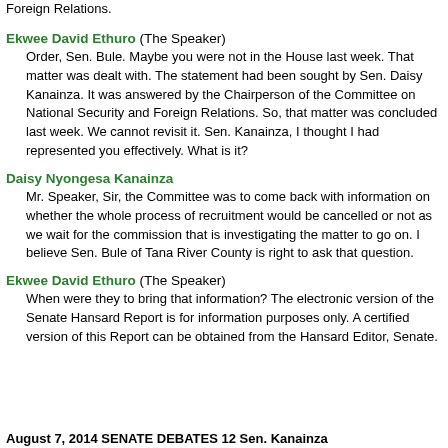Foreign Relations.
Ekwee David Ethuro (The Speaker)
Order, Sen. Bule. Maybe you were not in the House last week. That matter was dealt with. The statement had been sought by Sen. Daisy Kanainza. It was answered by the Chairperson of the Committee on National Security and Foreign Relations. So, that matter was concluded last week. We cannot revisit it. Sen. Kanainza, I thought I had represented you effectively. What is it?
Daisy Nyongesa Kanainza
Mr. Speaker, Sir, the Committee was to come back with information on whether the whole process of recruitment would be cancelled or not as we wait for the commission that is investigating the matter to go on. I believe Sen. Bule of Tana River County is right to ask that question.
Ekwee David Ethuro (The Speaker)
When were they to bring that information? The electronic version of the Senate Hansard Report is for information purposes only. A certified version of this Report can be obtained from the Hansard Editor, Senate.
August 7, 2014 SENATE DEBATES 12 Sen. Kanainza